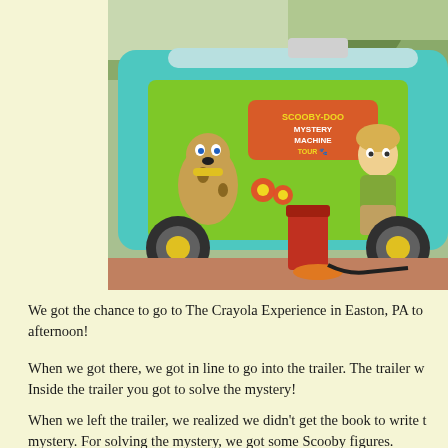[Figure (photo): Photo of the Scooby-Doo Mystery Machine van, a teal and green van with cartoon characters Scooby-Doo and Shaggy painted on the side, parked outdoors with trees visible in the background and a red trash bin nearby.]
We got the chance to go to The Crayola Experience in Easton, PA to afternoon!
When we got there, we got in line to go into the trailer. The trailer w Inside the trailer you got to solve the mystery!
When we left the trailer, we realized we didn't get the book to write mystery. For solving the mystery, we got some Scooby figures.